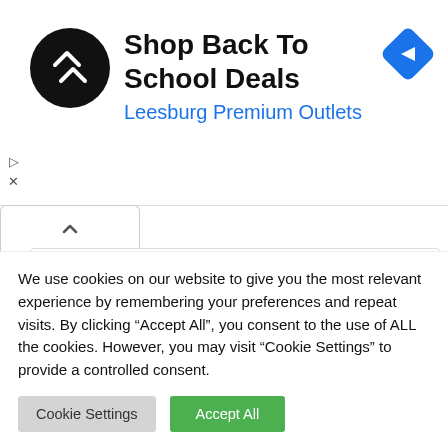[Figure (logo): Advertisement banner with circular black logo containing double arrow symbol, text 'Shop Back To School Deals' and 'Leesburg Premium Outlets' in blue, and a blue diamond navigation icon on the right]
Leave a Reply
Your email address will not be published. Required fields are marked *
We use cookies on our website to give you the most relevant experience by remembering your preferences and repeat visits. By clicking “Accept All”, you consent to the use of ALL the cookies. However, you may visit “Cookie Settings” to provide a controlled consent.